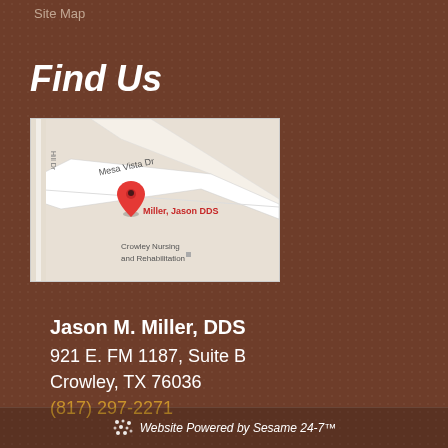Site Map
Find Us
[Figure (map): Google Maps screenshot showing location of Miller, Jason DDS near Mesa Vista Dr, with Crowley Nursing and Rehabilitation visible nearby]
Jason M. Miller, DDS
921 E. FM 1187, Suite B
Crowley, TX 76036
(817) 297-2271
Website Powered by Sesame 24-7™